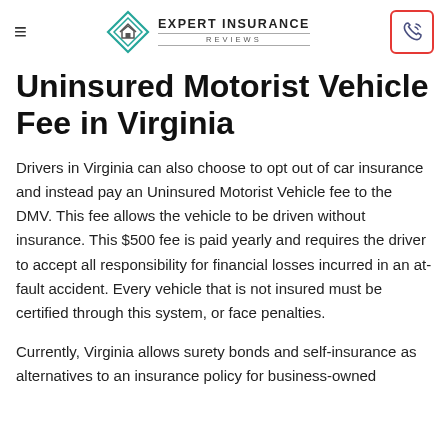Expert Insurance Reviews
Uninsured Motorist Vehicle Fee in Virginia
Drivers in Virginia can also choose to opt out of car insurance and instead pay an Uninsured Motorist Vehicle fee to the DMV. This fee allows the vehicle to be driven without insurance. This $500 fee is paid yearly and requires the driver to accept all responsibility for financial losses incurred in an at-fault accident. Every vehicle that is not insured must be certified through this system, or face penalties.
Currently, Virginia allows surety bonds and self-insurance as alternatives to an insurance policy for business-owned